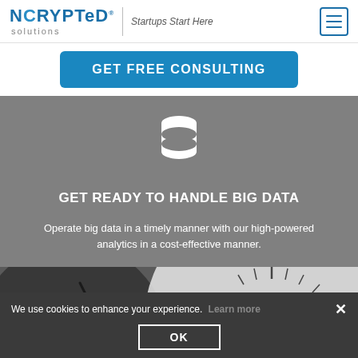[Figure (logo): NCRYPTed solutions logo with tagline 'Startups Start Here' and hamburger menu icon]
GET FREE CONSULTING
[Figure (illustration): Database stack icon (white) on grey background]
GET READY TO HANDLE BIG DATA
Operate big data in a timely manner with our high-powered analytics in a cost-effective manner.
[Figure (photo): Close-up photo of a clock face showing numbers 23, 25, 27, 11, 13]
We use cookies to enhance your experience. Learn more
OK